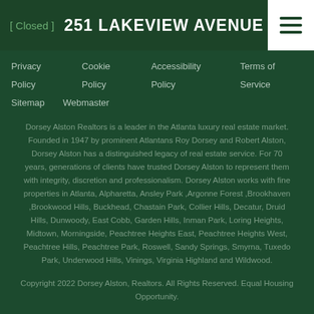[ Closed ]   251 LAKEVIEW AVENUE NE
Privacy Policy   Cookie Policy   Accessibility Policy   Terms of Service   Sitemap   Webmaster
Dorsey Alston Realtors is a leader in the Atlanta luxury real estate market. Founded in 1947 by prominent Atlantans Roy Dorsey and Robert Alston, Dorsey Alston has a distinguished legacy of real estate service. For 70 years, generations of clients have trusted Dorsey Alston to represent them with integrity, discretion and professionalism. Dorsey Alston works with fine properties in Atlanta, Alpharetta, Ansley Park ,Argonne Forest ,Brookhaven ,Brookwood Hills, Buckhead, Chastain Park, Collier Hills, Decatur, Druid Hills, Dunwoody, East Cobb, Garden Hills, Inman Park, Loring Heights, Midtown, Morningside, Peachtree Heights East, Peachtree Heights West, Peachtree Hills, Peachtree Park, Roswell, Sandy Springs, Smyrna, Tuxedo Park, Underwood Hills, Vinings, Virginia Highland and Wildwood.
Copyright 2022 Dorsey Alston, Realtors. All Rights Reserved. Equal Housing Opportunity.